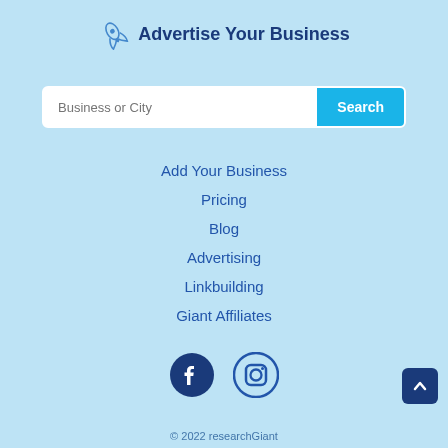Advertise Your Business
Add Your Business
Pricing
Blog
Advertising
Linkbuilding
Giant Affiliates
[Figure (illustration): Facebook and Instagram social media icons]
© 2022 researchGiant